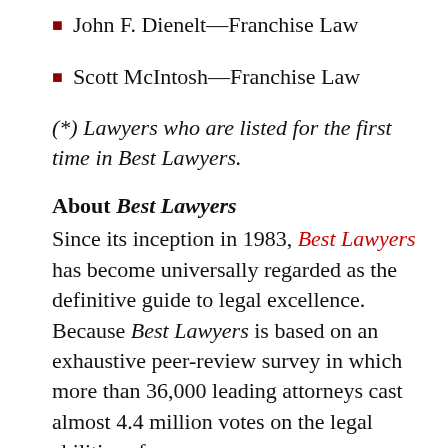John F. Dienelt—Franchise Law
Scott McIntosh—Franchise Law
(*) Lawyers who are listed for the first time in Best Lawyers.
About Best Lawyers
Since its inception in 1983, Best Lawyers has become universally regarded as the definitive guide to legal excellence. Because Best Lawyers is based on an exhaustive peer-review survey in which more than 36,000 leading attorneys cast almost 4.4 million votes on the legal abilities of